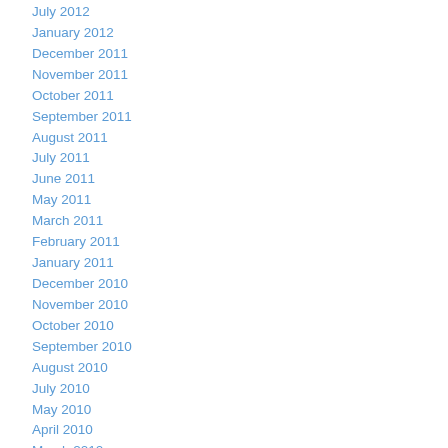July 2012
January 2012
December 2011
November 2011
October 2011
September 2011
August 2011
July 2011
June 2011
May 2011
March 2011
February 2011
January 2011
December 2010
November 2010
October 2010
September 2010
August 2010
July 2010
May 2010
April 2010
March 2010
February 2010
January 2010
December 2009
November 2009
October 2009